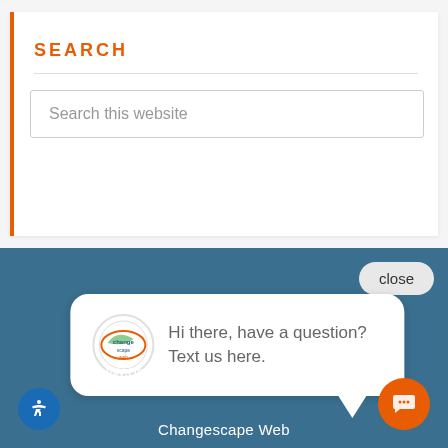SEARCH
Search this website
[Figure (screenshot): Chat widget popup with Changescape Web logo showing message: Hi there, have a question? Text us here.]
Websites that generate customers
Changescape Web